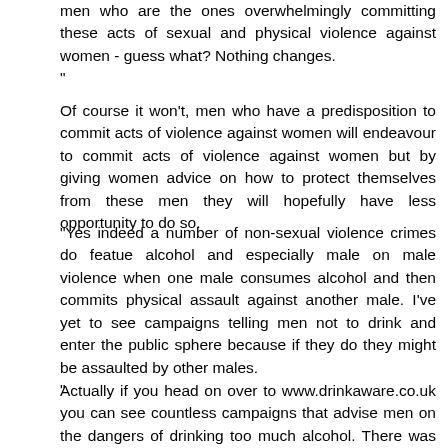men who are the ones overwhelmingly committing these acts of sexual and physical violence against women - guess what? Nothing changes.
"
Of course it won't, men who have a predisposition to commit acts of violence against women will endeavour to commit acts of violence against women but by giving women advice on how to protect themselves from these men they will hopefully have less opportunity to do so.
"Yes indeed a number of non-sexual violence crimes do featue alcohol and especially male on male violence when one male consumes alcohol and then commits physical assault against another male. I've yet to see campaigns telling men not to drink and enter the public sphere because if they do they might be assaulted by other males.
"
Actually if you head on over to www.drinkaware.co.uk you can see countless campaigns that advise men on the dangers of drinking too much alcohol. There was an advert on the television not too long ago where a man thought that